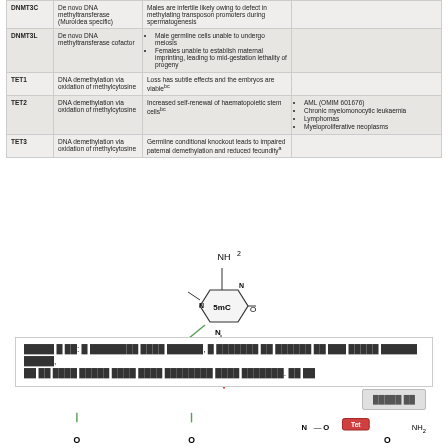| Gene | Function | Mouse knockout phenotype | Human disease association |
| --- | --- | --- | --- |
| DNMT3C | De novo DNA methyltransferase (Muroidea specific) | Males are infertile likely owing to defect in methylating transposon promoters during spermatogenesis |  |
| DNMT3L | De novo DNA methyltransferase cofactor | • Male germline cells unable to undergo meiosis
• Females unable to establish maternal imprinting, leading to mid-gestation lethality of progeny |  |
| TET1 | DNA demethylation via oxidation of methylcytosine | Loss has subtle effects and the embryos are viable |  |
| TET2 | DNA demethylation via oxidation of methylcytosine | Increased self-renewal of haematopoietic stem cells | • AML (OMIM 601676)
• Chronic myelomonocytic leukaemia
• Lymphomas
• Myeloproliferative neoplasms |
| TET3 | DNA demethylation via oxidation of methylcytosine | Germline conditional knockout leads to impaired paternal demethylation and reduced fecundity |  |
[Figure (schematic): Chemical structure of 5-methylcytosine (5mC) showing NH2 group at top, pyrimidine ring labeled 5mC, R group at bottom. AID/APOBEC arrow pointing left-down (green), Tet enzyme arrow pointing down (red).]
Figure 3 | ... A schematic showing 5mC structure, with arrows indicating pathways of demethylation via AID/APOBEC and Tet enzymes. See text
[Figure (schematic): Bottom row of chemical structures showing oxidized forms of methylcytosine with O groups, N-O linkage, Tet label, and NH2 group.]